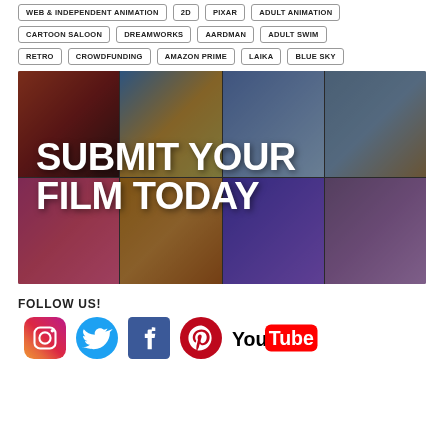WEB & INDEPENDENT ANIMATION | 2D | PIXAR | ADULT ANIMATION
CARTOON SALOON | DREAMWORKS | AARDMAN | ADULT SWIM
RETRO | CROWDFUNDING | AMAZON PRIME | LAIKA | BLUE SKY
[Figure (photo): Collage of animated film stills with bold white text overlay reading SUBMIT YOUR FILM TODAY]
FOLLOW US!
[Figure (infographic): Social media icons: Instagram, Twitter, Facebook, Pinterest, YouTube]